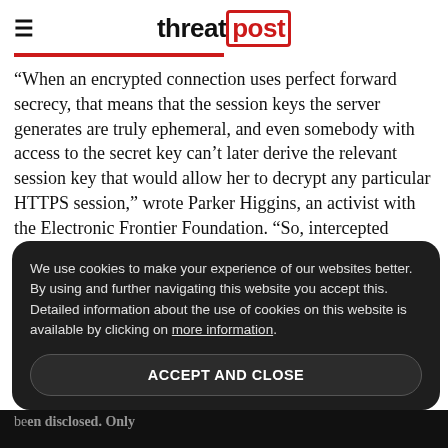threatpost
“When an encrypted connection uses perfect forward secrecy, that means that the session keys the server generates are truly ephemeral, and even somebody with access to the secret key can’t later derive the relevant session key that would allow her to decrypt any particular HTTPS session,” wrote Parker Higgins, an activist with the Electronic Frontier Foundation. “So, intercepted encrypted data is protected from prying eyes long into the future, even if the website’s secret key is later c…
We use cookies to make your experience of our websites better. By using and further navigating this website you accept this. Detailed information about the use of cookies on this website is available by clicking on more information.
ACCEPT AND CLOSE
be…